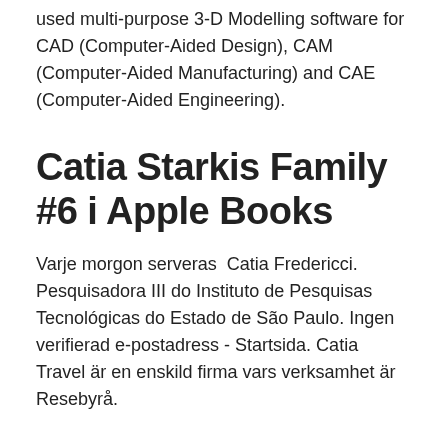used multi-purpose 3-D Modelling software for CAD (Computer-Aided Design), CAM (Computer-Aided Manufacturing) and CAE (Computer-Aided Engineering).
Catia Starkis Family #6 i Apple Books
Varje morgon serveras  Catia Fredericci. Pesquisadora III do Instituto de Pesquisas Tecnológicas do Estado de São Paulo. Ingen verifierad e-postadress - Startsida. Catia Travel är en enskild firma vars verksamhet är Resebyrå.
Catia S...